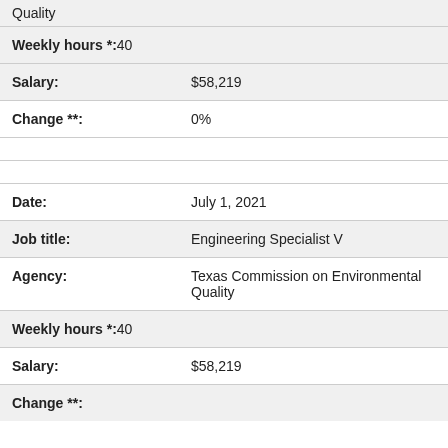|  | Quality |
| Weekly hours *: | 40 |
| Salary: | $58,219 |
| Change **: | 0% |
| Date: | July 1, 2021 |
| Job title: | Engineering Specialist V |
| Agency: | Texas Commission on Environmental Quality |
| Weekly hours *: | 40 |
| Salary: | $58,219 |
| Change **: |  |